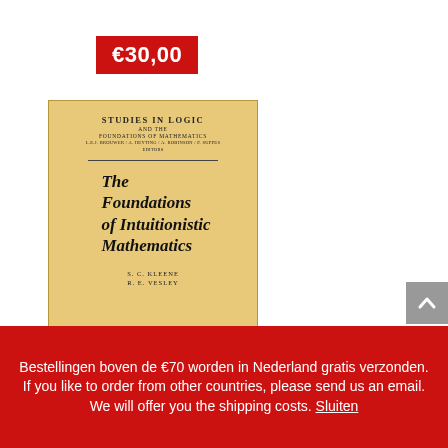€30,00
[Figure (photo): Book cover of 'The Foundations of Intuitionistic Mathematics' by S.C. Kleene and R.E. Vesley, published in the Studies in Logic and the Foundations of Mathematics series by North-Holland Publishing Company, Amsterdam. The cover is orange/tan colored with serif typography.]
The Foundations of Intuitionistic Mathematics. Especially in relation to recursive functions.
Bestellingen boven de €70 worden in Nederland gratis verzonden. If you like to order from other countries, please send us an email. We will offer you the shipping costs. Sluiten